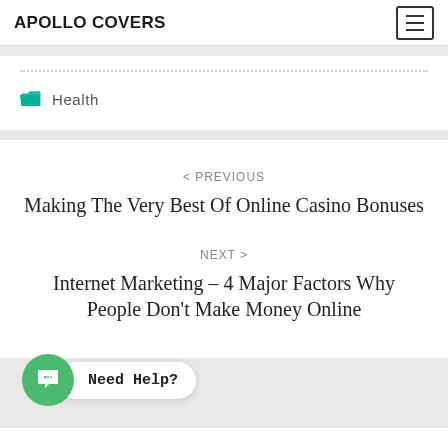APOLLO COVERS
Health
< PREVIOUS
Making The Very Best Of Online Casino Bonuses
NEXT >
Internet Marketing – 4 Major Factors Why People Don't Make Money Online